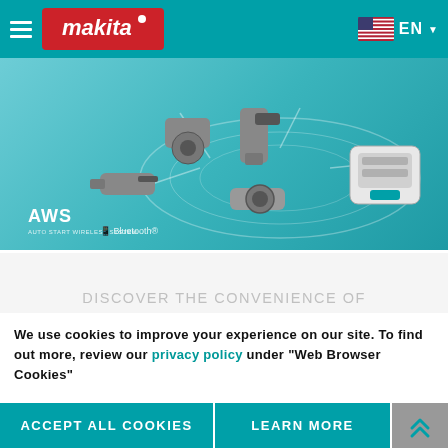[Figure (logo): Makita brand header with teal background, hamburger menu icon, Makita logo in red, and US flag EN language selector]
[Figure (illustration): AWS Auto-Start Wireless System banner showing multiple Makita power tools connected wirelessly on a teal gradient background with AWS and Bluetooth logos]
DISCOVER THE CONVENIENCE OF WIRELESS AUTO-START
[Figure (photo): Dark background image strip showing partial view of Makita tool]
We use cookies to improve your experience on our site. To find out more, review our privacy policy under "Web Browser Cookies"
ACCEPT ALL COOKIES
LEARN MORE